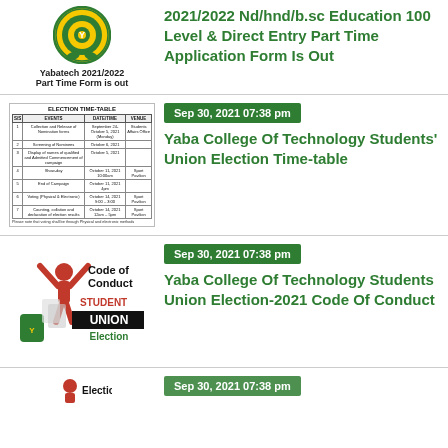[Figure (illustration): Yabatech college logo with text 'Yabatech 2021/2022 Part Time Form is out']
2021/2022 Nd/hnd/b.sc Education 100 Level & Direct Entry Part Time Application Form Is Out
[Figure (table-as-image): Election Time-Table with 7 rows listing events, dates/times, and venues for Yaba College of Technology Students Union Election]
Sep 30, 2021 07:38 pm
Yaba College Of Technology Students' Union Election Time-table
[Figure (illustration): Code of Conduct - Student Union Election graphic with red figure raising hands, STUDENT UNION text, and college shield logo]
Sep 30, 2021 07:38 pm
Yaba College Of Technology Students Union Election-2021 Code Of Conduct
[Figure (illustration): Partial view of another election-related graphic at the bottom of the page]